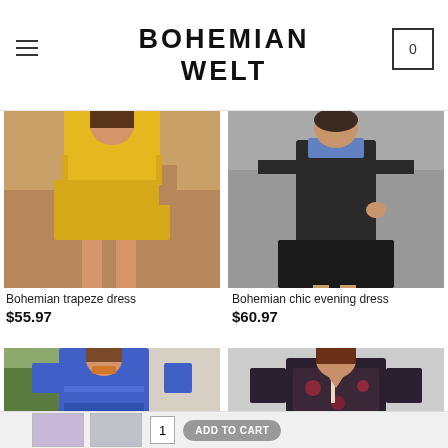BOHEMIAN WELT
[Figure (photo): Woman wearing yellow Bohemian trapeze dress]
Bohemian trapeze dress
$55.97
[Figure (photo): Woman wearing black Bohemian chic evening dress]
Bohemian chic evening dress
$60.97
[Figure (photo): Woman wearing blue bohemian dress outdoors]
[Figure (photo): Woman wearing dark floral bohemian dress]